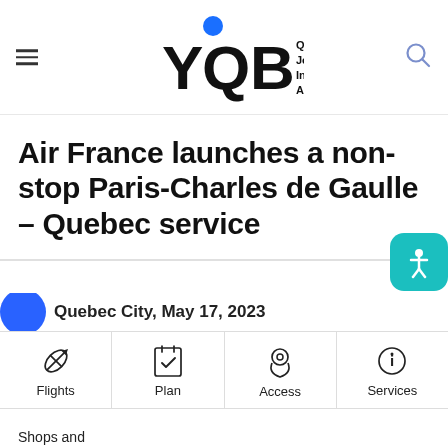YQB - Québec City Jean Lesage International Airport
Air France launches a non-stop Paris-Charles de Gaulle – Quebec service
Quebec City, May 17, 2023
Flights
Plan
Access
Services
Shops and Restaurants